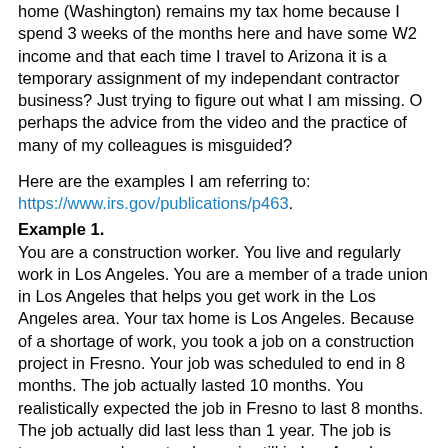home (Washington) remains my tax home because I spend 3 weeks of the months here and have some W2 income and that each time I travel to Arizona it is a temporary assignment of my independant contractor business? Just trying to figure out what I am missing. O perhaps the advice from the video and the practice of many of my colleagues is misguided?
Here are the examples I am referring to: https://www.irs.gov/publications/p463.
Example 1.
You are a construction worker. You live and regularly work in Los Angeles. You are a member of a trade union in Los Angeles that helps you get work in the Los Angeles area. Your tax home is Los Angeles. Because of a shortage of work, you took a job on a construction project in Fresno. Your job was scheduled to end in 8 months. The job actually lasted 10 months. You realistically expected the job in Fresno to last 8 months. The job actually did last less than 1 year. The job is temporary and your tax home is still in Los Angeles.
Example 2.
The facts are the same as in Example 1, except that you realistically expected the work in Fresno to last 18 months. The job was actually completed in 10 months.
Your job in Fresno is indefinite because you realistically expected the work to last longer than 1 year, even though it actually lasted less than 1 year. You can't deduct any travel expenses you had in Fresno because Fresno became your